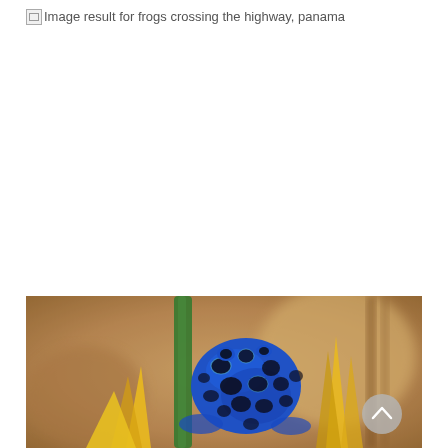[Figure (other): Broken image placeholder with alt text: Image result for frogs crossing the highway, panama]
[Figure (photo): Close-up photograph of a blue poison dart frog with black spots, perched on yellow and green tropical plant stems, blurred warm-toned background. A circular gray scroll-up button is overlaid in the lower-right area.]